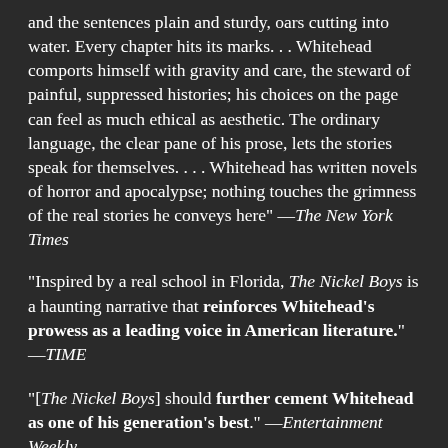and the sentences plain and sturdy, oars cutting into water. Every chapter hits its marks. . . Whitehead comports himself with gravity and care, the steward of painful, suppressed histories; his choices on the page can feel as much ethical as aesthetic. The ordinary language, the clear pane of his prose, lets the stories speak for themselves. . . . Whitehead has written novels of horror and apocalypse; nothing touches the grimness of the real stories he conveys here" —The New York Times
"Inspired by a real school in Florida, The Nickel Boys is a haunting narrative that reinforces Whitehead's prowess as a leading voice in American literature." —TIME
"[The Nickel Boys] should further cement Whitehead as one of his generation's best." —Entertainment Weekly